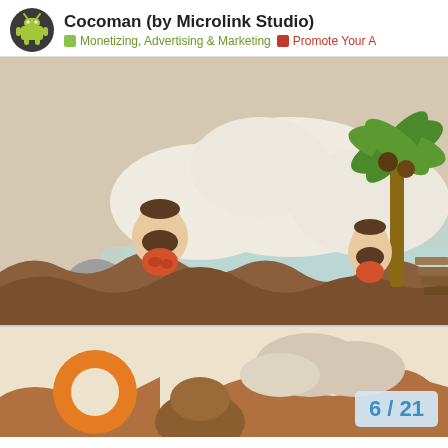Cocoman (by Microlink Studio)
Monetizing, Advertising & Marketing  Promote Your A
[Figure (screenshot): Mobile game screenshot showing prehistoric caveman characters standing on a brown terrain with clouds, water, rocks, and a palm tree in a cartoon style.]
[Figure (screenshot): Second mobile game screenshot showing game elements including an orange donut/ring shape and cartoon cloud and terrain, with a page counter overlay showing 6/21.]
6 / 21